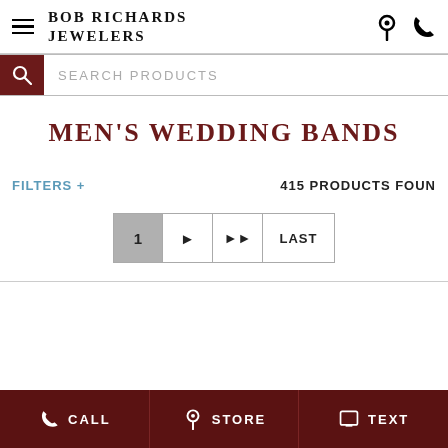Bob Richards Jewelers
SEARCH PRODUCTS
MEN'S WEDDING BANDS
FILTERS +  415 PRODUCTS FOUND
1 | > | >> | LAST
CALL  STORE  TEXT